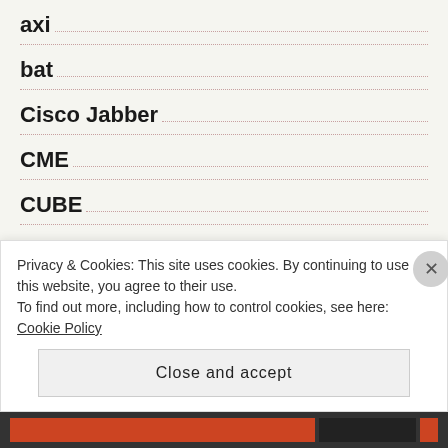axi
bat
Cisco Jabber
CME
CUBE
cuc
cucm
Development
Privacy & Cookies: This site uses cookies. By continuing to use this website, you agree to their use. To find out more, including how to control cookies, see here: Cookie Policy
Close and accept